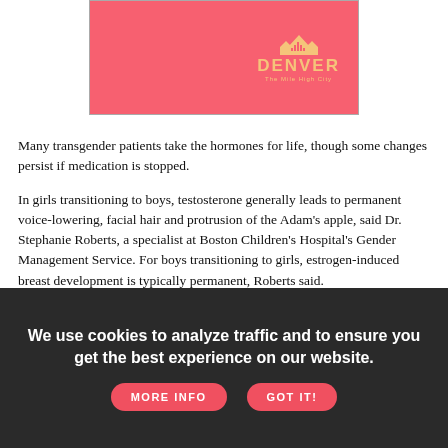[Figure (logo): Denver The Mile High City logo on a pink/coral background]
Many transgender patients take the hormones for life, though some changes persist if medication is stopped.
In girls transitioning to boys, testosterone generally leads to permanent voice-lowering, facial hair and protrusion of the Adam's apple, said Dr. Stephanie Roberts, a specialist at Boston Children's Hospital's Gender Management Service. For boys transitioning to girls, estrogen-induced breast development is typically permanent, Roberts said.
[Figure (illustration): Chevrolet advertisement banner: LGBTO Nation Authentic Voices of Pride, with a person, Chevrolet bowtie logo, and colorful bars]
We use cookies to analyze traffic and to ensure you get the best experience on our website. MORE INFO   GOT IT!